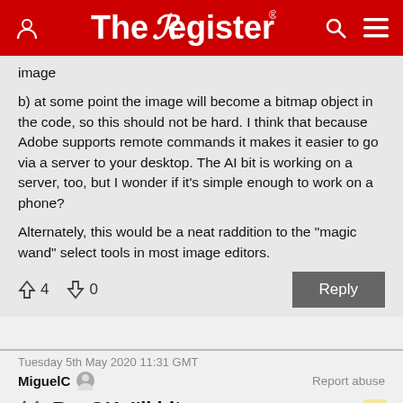The Register
image

b) at some point the image will become a bitmap object in the code, so this should not be hard. I think that because Adobe supports remote commands it makes it easier to go via a server to your desktop. The AI bit is working on a server, too, but I wonder if it's simple enough to work on a phone?

Alternately, this would be a neat raddition to the "magic wand" select tools in most image editors.
↑4  ↓0
Reply
Tuesday 5th May 2020 11:31 GMT
MiguelC
Report abuse
Re: OK, I'll bite.